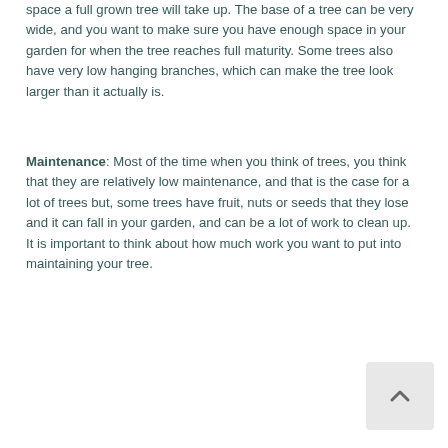space a full grown tree will take up. The base of a tree can be very wide, and you want to make sure you have enough space in your garden for when the tree reaches full maturity. Some trees also have very low hanging branches, which can make the tree look larger than it actually is.
Maintenance: Most of the time when you think of trees, you think that they are relatively low maintenance, and that is the case for a lot of trees but, some trees have fruit, nuts or seeds that they lose and it can fall in your garden, and can be a lot of work to clean up. It is important to think about how much work you want to put into maintaining your tree.